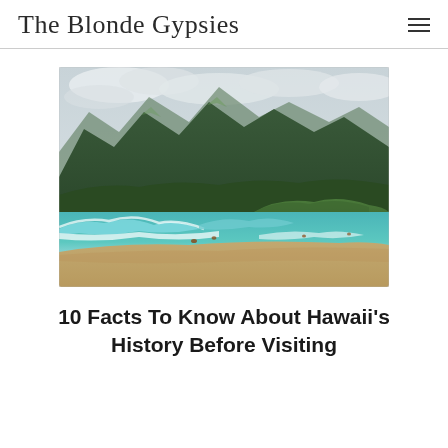The Blonde Gypsies
[Figure (photo): A scenic Hawaiian beach with turquoise waves, sandy shore, green vegetated cliffs, and mountains in the background under a cloudy sky. Several people are visible in the water.]
10 Facts To Know About Hawaii's History Before Visiting